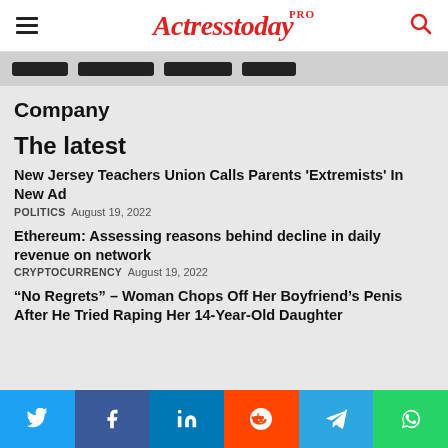Actresstoday PRO
Company
The latest
New Jersey Teachers Union Calls Parents 'Extremists' In New Ad
POLITICS  August 19, 2022
Ethereum: Assessing reasons behind decline in daily revenue on network
CRYPTOCURRENCY  August 19, 2022
“No Regrets” – Woman Chops Off Her Boyfriend’s Penis After He Tried Raping Her 14-Year-Old Daughter